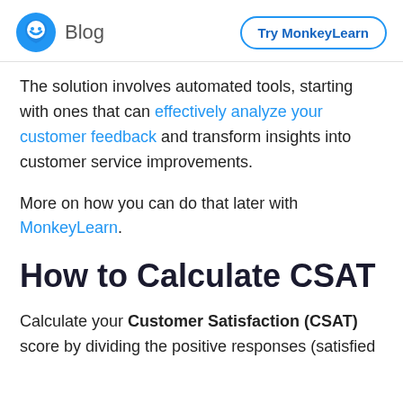Blog | Try MonkeyLearn
The solution involves automated tools, starting with ones that can effectively analyze your customer feedback and transform insights into customer service improvements.
More on how you can do that later with MonkeyLearn.
How to Calculate CSAT
Calculate your Customer Satisfaction (CSAT) score by dividing the positive responses (satisfied